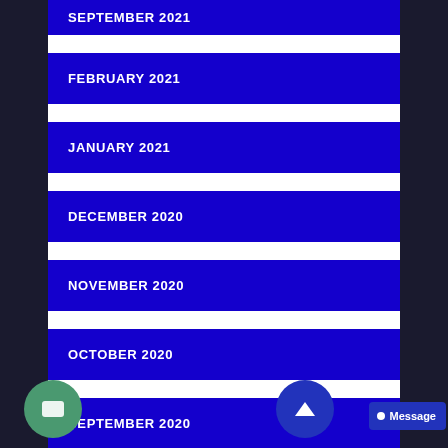SEPTEMBER 2021
FEBRUARY 2021
JANUARY 2021
DECEMBER 2020
NOVEMBER 2020
OCTOBER 2020
SEPTEMBER 2020